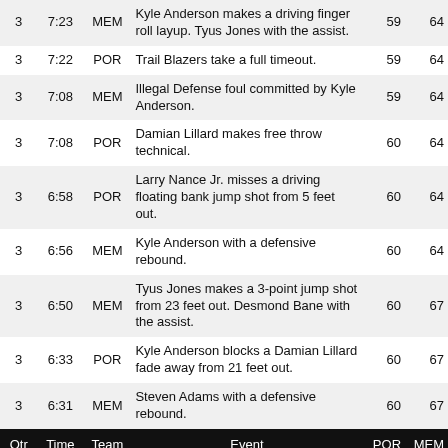| Qtr | Time | Team | Event | POR | MEM |
| --- | --- | --- | --- | --- | --- |
| 3 | 7:23 | MEM | Kyle Anderson makes a driving finger roll layup. Tyus Jones with the assist. | 59 | 64 |
| 3 | 7:22 | POR | Trail Blazers take a full timeout. | 59 | 64 |
| 3 | 7:08 | MEM | Illegal Defense foul committed by Kyle Anderson. | 59 | 64 |
| 3 | 7:08 | POR | Damian Lillard makes free throw technical. | 60 | 64 |
| 3 | 6:58 | POR | Larry Nance Jr. misses a driving floating bank jump shot from 5 feet out. | 60 | 64 |
| 3 | 6:56 | MEM | Kyle Anderson with a defensive rebound. | 60 | 64 |
| 3 | 6:50 | MEM | Tyus Jones makes a 3-point jump shot from 23 feet out. Desmond Bane with the assist. | 60 | 67 |
| 3 | 6:33 | POR | Kyle Anderson blocks a Damian Lillard fade away from 21 feet out. | 60 | 67 |
| 3 | 6:31 | MEM | Steven Adams with a defensive rebound. | 60 | 67 |
| 3 | 6:27 | MEM | Dillon Brooks dunks. Desmond Bane with the assist. | 60 | 69 |